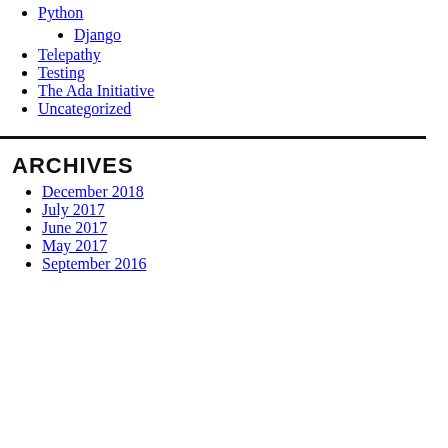Python
Django
Telepathy
Testing
The Ada Initiative
Uncategorized
ARCHIVES
December 2018
July 2017
June 2017
May 2017
September 2016